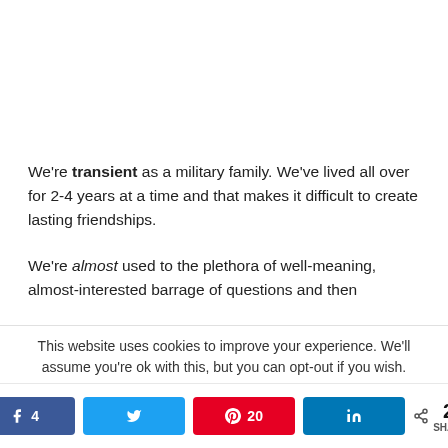We're transient as a military family. We've lived all over for 2-4 years at a time and that makes it difficult to create lasting friendships.
We're almost used to the plethora of well-meaning, almost-interested barrage of questions and then
This website uses cookies to improve your experience. We'll assume you're ok with this, but you can opt-out if you wish.
Facebook 4 | Twitter | Pinterest 20 | LinkedIn | < 24 SHARES